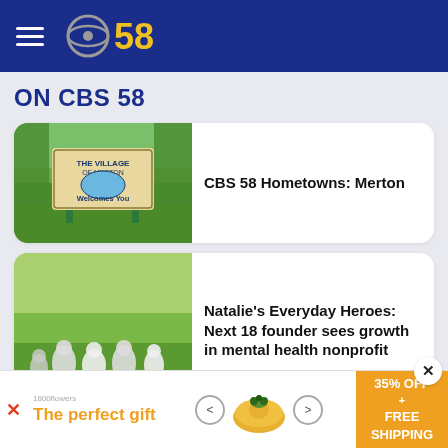CBS 58 - ON CBS 58
ON CBS 58
[Figure (screenshot): Village of Merton Welcomes You sign with green trees in background]
CBS 58 Hometowns: Merton
[Figure (photo): Group of people sitting in chairs on grass field outdoors]
Natalie's Everyday Heroes: Next 18 founder sees growth in mental health nonprofit
[Figure (photo): Partial view of third news card image]
[Figure (screenshot): Advertisement banner: The perfect gift - 35% OFF + FREE SHIPPING]